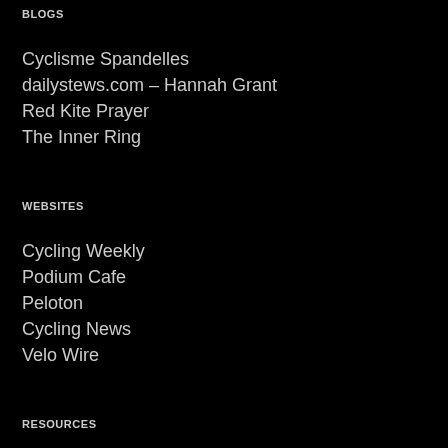BLOGS
Cyclisme Spandelles
dailystews.com – Hannah Grant
Red Kite Prayer
The Inner Ring
WEBSITES
Cycling Weekly
Podium Cafe
Peloton
Cycling News
Velo Wire
RESOURCES